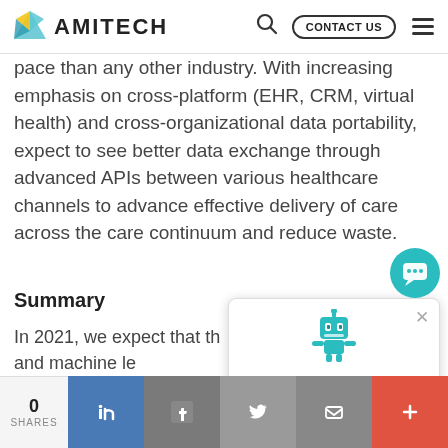AMITECH | CONTACT US
pace than any other industry. With increasing emphasis on cross-platform (EHR, CRM, virtual health) and cross-organizational data portability, expect to see better data exchange through advanced APIs between various healthcare channels to advance effective delivery of care across the care continuum and reduce waste.
Summary
In 2021, we expect that the digital, AI, and machine learning technologies will be transforming care from reactive to proactive, reinvent care delivery, drive consumer-centric healthcare, and create competitive advantages for payors and providers alike.
[Figure (screenshot): Chat popup with a robot character labeled Flint saying 'Hi! I am Flint.' and a close button]
[Figure (other): Teal chat bubble button in the bottom right corner]